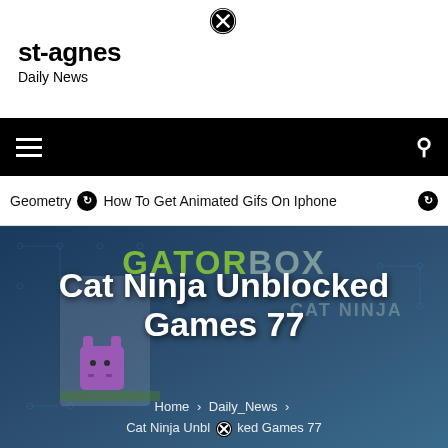[Figure (other): Close/dismiss circle button with X icon, top center]
st-agnes
Daily News
[Figure (other): Black navigation bar with hamburger menu icon on left and search icon on right]
Geometry  ⊙ How To Get Animated Gifs On Iphone  ⊙
[Figure (screenshot): Hero image background with GatorBox game art showing colorful circuit board style game graphics with cat ninja character]
Cat Ninja Unblocked Games 77
Home > Daily_News > Cat Ninja Unblocked Games 77